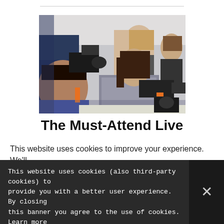[Figure (photo): Group of photographers holding cameras with telephoto lenses, pointing them forward at a photography event or workshop. Several people visible, including a woman in the center holding a large camera and lens.]
The Must-Attend Live
This website uses cookies to improve your experience. We'll
This website uses cookies (also third-party cookies) to provide you with a better user experience. By closing this banner you agree to the use of cookies. Learn more